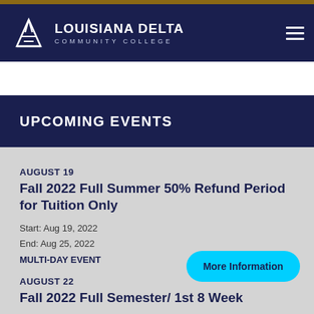[Figure (logo): Louisiana Delta Community College logo with white mountain/flame icon and college name in white on dark navy background]
UPCOMING EVENTS
AUGUST 19
Fall 2022 Full Summer 50% Refund Period for Tuition Only
Start: Aug 19, 2022
End: Aug 25, 2022
MULTI-DAY EVENT
AUGUST 22
Fall 2022 Full Semester/ 1st 8 Week